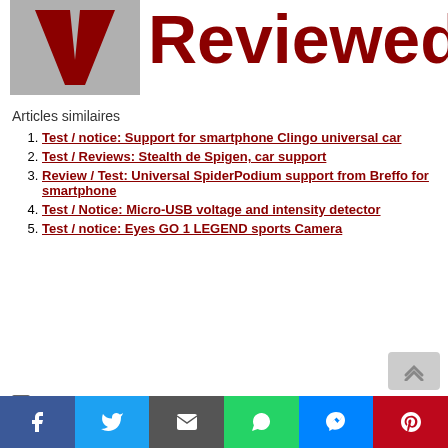[Figure (logo): Reviewed website logo with dark red V letter on grey background and 'Reviewed' text in dark red]
Articles similaires
Test / notice: Support for smartphone Clingo universal car
Test / Reviews: Stealth de Spigen, car support
Review / Test: Universal SpiderPodium support from Breffo for smartphone
Test / Notice: Micro-USB voltage and intensity detector
Test / notice: Eyes GO 1 LEGEND sports Camera
Leave a comment
[Figure (infographic): Social sharing bar with Facebook, Twitter, Email, WhatsApp, Messenger, and Pinterest buttons]